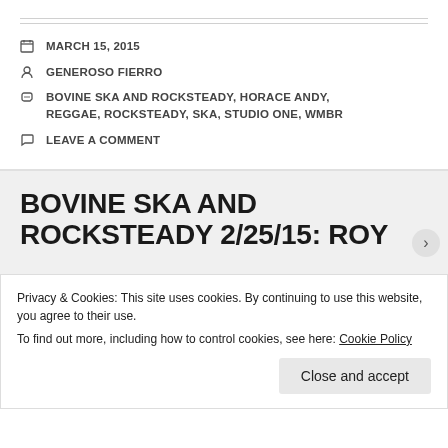MARCH 15, 2015
GENEROSO FIERRO
BOVINE SKA AND ROCKSTEADY, HORACE ANDY, REGGAE, ROCKSTEADY, SKA, STUDIO ONE, WMBR
LEAVE A COMMENT
BOVINE SKA AND ROCKSTEADY 2/25/15: ROY
Privacy & Cookies: This site uses cookies. By continuing to use this website, you agree to their use.
To find out more, including how to control cookies, see here: Cookie Policy
Close and accept